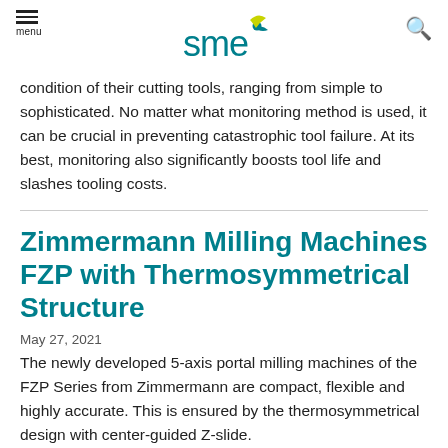menu | sme | search
condition of their cutting tools, ranging from simple to sophisticated. No matter what monitoring method is used, it can be crucial in preventing catastrophic tool failure. At its best, monitoring also significantly boosts tool life and slashes tooling costs.
Zimmermann Milling Machines FZP with Thermosymmetrical Structure
May 27, 2021
The newly developed 5-axis portal milling machines of the FZP Series from Zimmermann are compact, flexible and highly accurate. This is ensured by the thermosymmetrical design with center-guided Z-slide.